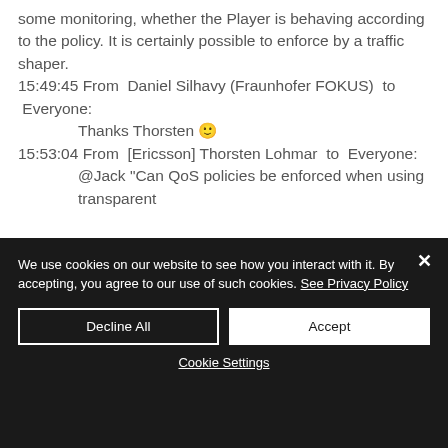some monitoring, whether the Player is behaving according to the policy. It is certainly possible to enforce by a traffic shaper.
15:49:45 From  Daniel Silhavy (Fraunhofer FOKUS)  to  Everyone:
    Thanks Thorsten 🙂
15:53:04 From  [Ericsson] Thorsten Lohmar  to  Everyone:
    @Jack "Can QoS policies be enforced when using transparent
We use cookies on our website to see how you interact with it. By accepting, you agree to our use of such cookies. See Privacy Policy
Decline All
Accept
Cookie Settings